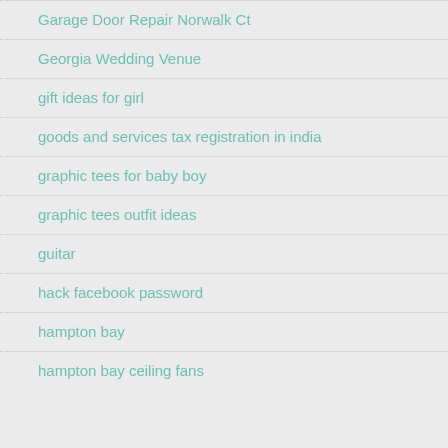Garage Door Repair Norwalk Ct
Georgia Wedding Venue
gift ideas for girl
goods and services tax registration in india
graphic tees for baby boy
graphic tees outfit ideas
guitar
hack facebook password
hampton bay
hampton bay ceiling fans